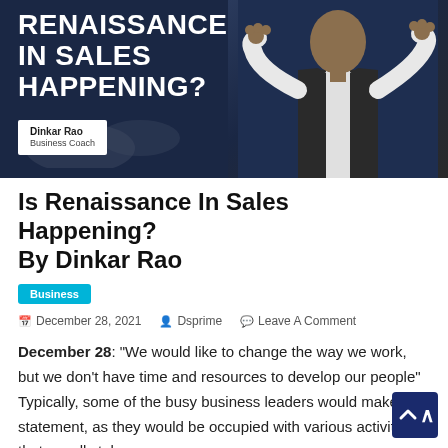[Figure (photo): Dark navy blue banner image with bold white text 'RENAISSANCE IN SALES HAPPENING?' and a white name card reading 'Dinkar Rao / Business Coach'. A man in a dark vest and white shirt gestures with both hands on the right side of the banner.]
Is Renaissance In Sales Happening? By Dinkar Rao
Business
December 28, 2021   Dsprime   Leave A Comment
December 28: "We would like to change the way we work, but we don't have time and resources to develop our people" Typically, some of the busy business leaders would make this statement, as they would be occupied with various activities that usually takes away a